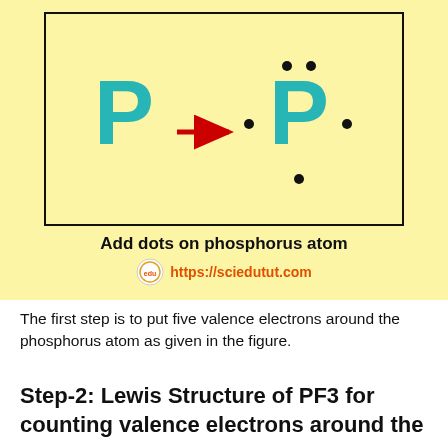[Figure (illustration): Diagram on yellow background showing phosphorus atom P with an arrow pointing right to P with five valence electron dots around it (two on top, one on left, one on right, one on bottom). Caption below reads 'Add dots on phosphorus atom' with the URL https://sciedutut.com]
Add dots on phosphorus atom
The first step is to put five valence electrons around the phosphorus atom as given in the figure.
Step-2: Lewis Structure of PF3 for counting valence electrons around the